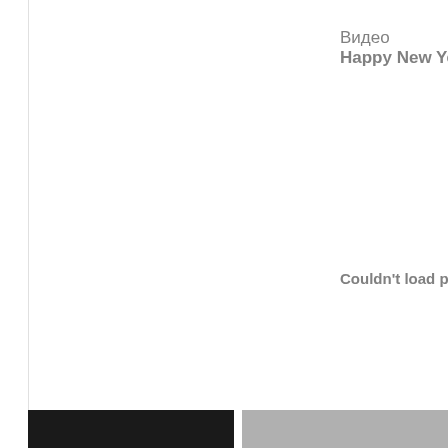Видео
Happy New Year (акк
Couldn't load plugi
[Figure (screenshot): Three thumbnail images at the bottom of the page - one black, one gray, one dark gray]